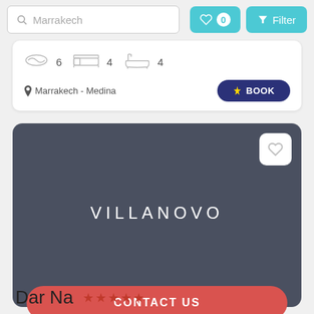[Figure (screenshot): Search bar with 'Marrakech' text, favorites button showing 0, and Filter button with funnel icon]
Marrakech - Medina
BOOK
[Figure (logo): Villanovo logo on dark grey card background with heart/favorite icon button and red CONTACT US button]
CONTACT US
Dar Na ★★★★★